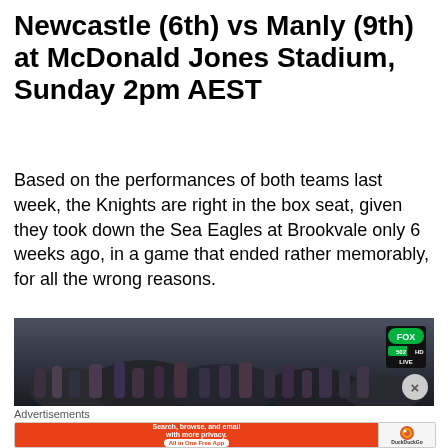Newcastle (6th) vs Manly (9th) at McDonald Jones Stadium, Sunday 2pm AEST
Based on the performances of both teams last week, the Knights are right in the box seat, given they took down the Sea Eagles at Brookvale only 6 weeks ago, in a game that ended rather memorably, for all the wrong reasons.
[Figure (photo): TV broadcast screenshot of a rugby league crowd scene with FOX Sports logo (502, LIVE) visible in top right corner]
Advertisements
[Figure (screenshot): DuckDuckGo advertisement banner: orange left side with text 'Search, browse, and email with more privacy. All in One Free App' and DuckDuckGo logo on white/grey right side]